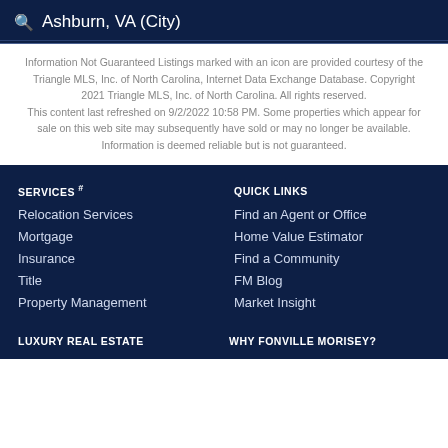Ashburn, VA (City)
Information Not Guaranteed Listings marked with an icon are provided courtesy of the Triangle MLS, Inc. of North Carolina, Internet Data Exchange Database. Copyright 2021 Triangle MLS, Inc. of North Carolina. All rights reserved. This content last refreshed on 9/2/2022 10:58 PM. Some properties which appear for sale on this web site may subsequently have sold or may no longer be available. Information is deemed reliable but is not guaranteed.
SERVICES #
Relocation Services
Mortgage
Insurance
Title
Property Management
QUICK LINKS
Find an Agent or Office
Home Value Estimator
Find a Community
FM Blog
Market Insight
LUXURY REAL ESTATE
WHY FONVILLE MORISEY?